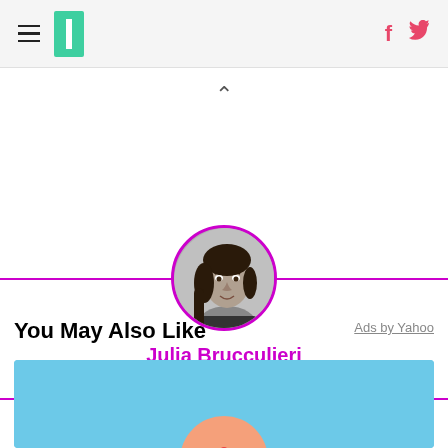HuffPost navigation header with hamburger menu, logo, Facebook and Twitter icons
[Figure (other): Upward-pointing chevron caret symbol]
[Figure (photo): Circular black-and-white author photo of Julia Brucculieri with magenta border ring, centered on horizontal magenta rule]
Julia Brucculieri
You May Also Like
Ads by Yahoo
[Figure (photo): Partial advertisement image with blue background and illustrated figure at bottom of page]